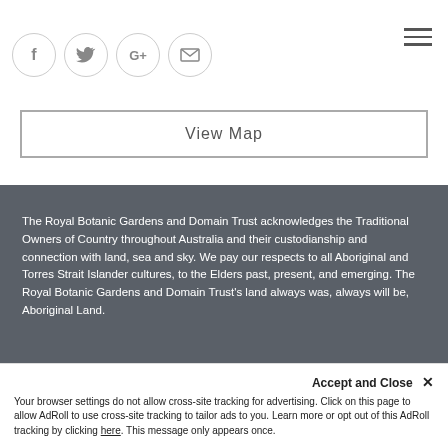[Figure (other): Social media icons: Facebook (f), Twitter (bird), Google+ (G+), Email (envelope), and a hamburger menu icon on the right]
View Map
The Royal Botanic Gardens and Domain Trust acknowledges the Traditional Owners of Country throughout Australia and their custodianship and connection with land, sea and sky. We pay our respects to all Aboriginal and Torres Strait Islander cultures, to the Elders past, present, and emerging. The Royal Botanic Gardens and Domain Trust's land always was, always will be, Aboriginal Land.
What's on
Accept and Close ✕
Your browser settings do not allow cross-site tracking for advertising. Click on this page to allow AdRoll to use cross-site tracking to tailor ads to you. Learn more or opt out of this AdRoll tracking by clicking here. This message only appears once.